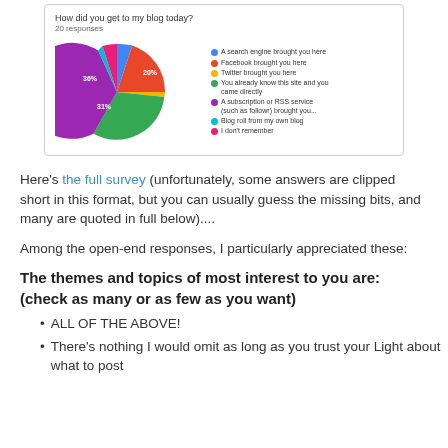[Figure (pie-chart): How did you get to my blog today?]
Here's the full survey (unfortunately, some answers are clipped short in this format, but you can usually guess the missing bits, and many are quoted in full below)....
Among the open-end responses, I particularly appreciated these:
The themes and topics of most interest to you are: (check as many or as few as you want)
ALL OF THE ABOVE!
There's nothing I would omit as long as you trust your Light about what to post